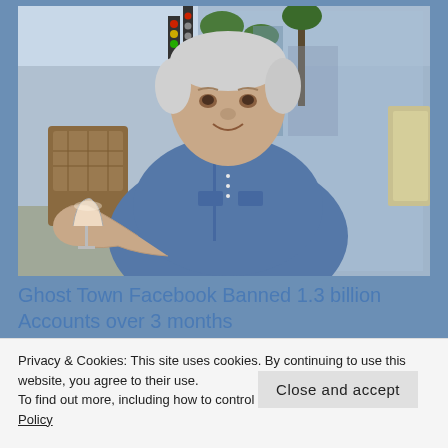[Figure (photo): An elderly man with white hair wearing a denim blue shirt, sitting outdoors at a cafe or restaurant, holding a glass of white wine. Background shows palm trees, traffic lights, and urban scenery reflected in glass windows.]
Ghost Town Facebook Banned 1.3 billion Accounts over 3 months
Privacy & Cookies: This site uses cookies. By continuing to use this website, you agree to their use.
To find out more, including how to control cookies, see here: Cookie Policy
Close and accept
[Figure (logo): Partially visible red and blue bold text logo at the bottom of the page, appears to be a news or media website logo.]